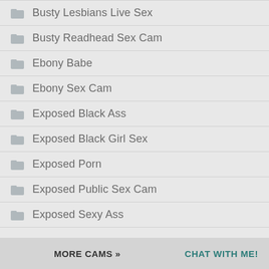Busty Lesbians Live Sex
Busty Readhead Sex Cam
Ebony Babe
Ebony Sex Cam
Exposed Black Ass
Exposed Black Girl Sex
Exposed Porn
Exposed Public Sex Cam
Exposed Sexy Ass
MORE CAMS »   CHAT WITH ME!